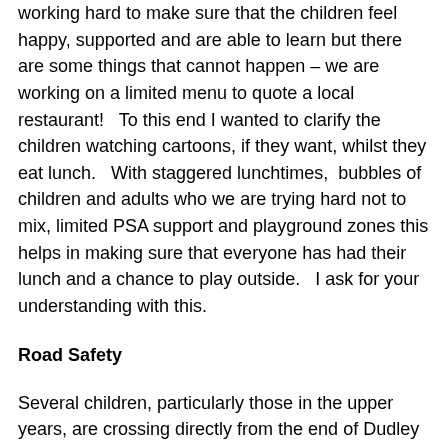working hard to make sure that the children feel happy, supported and are able to learn but there are some things that cannot happen – we are working on a limited menu to quote a local restaurant!   To this end I wanted to clarify the children watching cartoons, if they want, whilst they eat lunch.   With staggered lunchtimes,  bubbles of children and adults who we are trying hard not to mix, limited PSA support and playground zones this helps in making sure that everyone has had their lunch and a chance to play outside.   I ask for your understanding with this.
Road Safety
Several children, particularly those in the upper years, are crossing directly from the end of Dudley Gardens to access Victoria Park.  Please can you remind children to